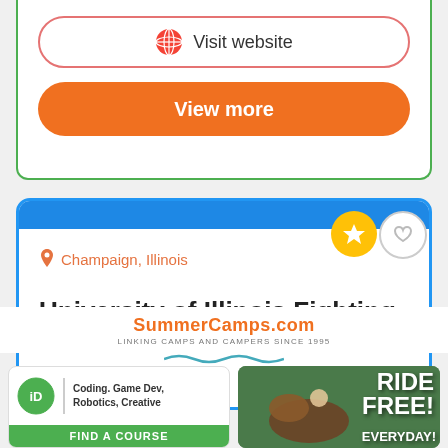[Figure (screenshot): Visit website button with globe icon, pink/red border, rounded pill shape]
[Figure (screenshot): View more button, orange rounded pill shape]
[Figure (screenshot): Second card with blue border, showing Champaign Illinois location and University of Illinois Fighting title, with star and heart icons]
SummerCamps.com
LINKING CAMPS AND CAMPERS SINCE 1995
[Figure (screenshot): iD Tech ad: Coding, Game Dev, Robotics, Creative. FIND A COURSE]
[Figure (photo): Horse jumping with rider, RIDE FREE! EVERYDAY! text overlay]